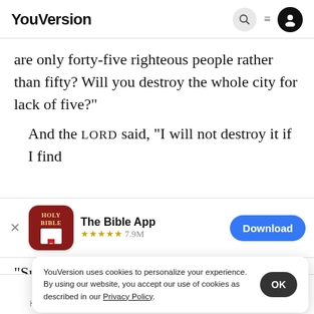YouVersion
are only forty-five righteous people rather than fifty? Will you destroy the whole city for lack of five?"
And the LORD said, “I will not destroy it if I find
[Figure (screenshot): App store banner for The Bible App with Holy Bible icon, 4.9M stars rating 7.9M, and Download button]
“Suppo
And t
sake of the forty”
YouVersion uses cookies to personalize your experience. By using our website, you accept our use of cookies as described in our Privacy Policy.
Home  Bible  Plans  Videos